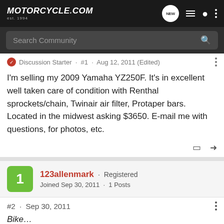Motorcycle.com est. 1994
Search Community
Discussion Starter · #1 · Aug 12, 2011 (Edited)
I'm selling my 2009 Yamaha YZ250F. It's in excellent well taken care of condition with Renthal sprockets/chain, Twinair air filter, Protaper bars. Located in the midwest asking $3650. E-mail me with questions, for photos, etc.
123allenmark · Registered
Joined Sep 30, 2011 · 1 Posts
#2 · Sep 30, 2011